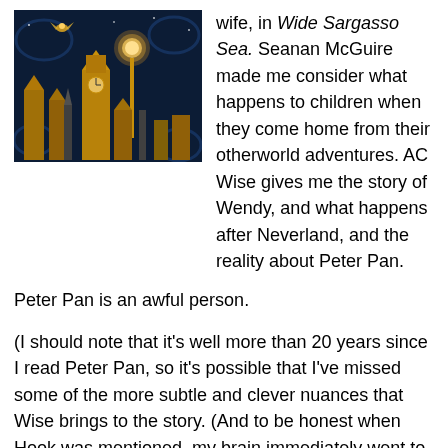[Figure (illustration): Stylized dark illustration of London skyline with Big Ben, gothic architecture, lamppost with glowing orb, and a silhouette of a flying fairy figure against a dark blue ornate background with golden tones.]
wife, in Wide Sargasso Sea. Seanan McGuire made me consider what happens to children when they come home from their otherworld adventures. AC Wise gives me the story of Wendy, and what happens after Neverland, and the reality about Peter Pan.
Peter Pan is an awful person.
(I should note that it's well more than 20 years since I read Peter Pan, so it's possible that I've missed some of the more subtle and clever nuances that Wise brings to the story. (And to be honest when Hook was mentioned, my brain immediately went to Dustin Hoffman…). Clearly, though, this is not a problem for appreciating the novel,